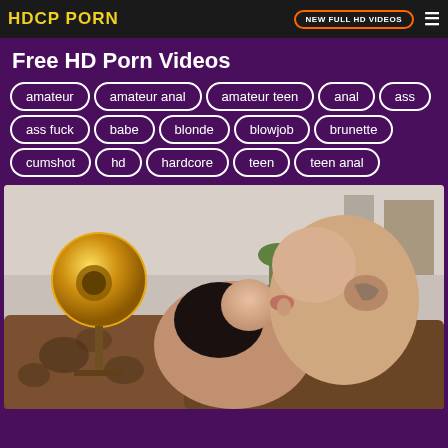HDCP PORN
Free HD Porn Videos
amateur
amateur anal
amateur teen
anal
ass
ass fuck
babe
blonde
blowjob
brunette
cumshot
hd
hardcore
teen
teen anal
[Figure (photo): Two people kissing on a sofa in an interior room with a large gold lamp in the background]